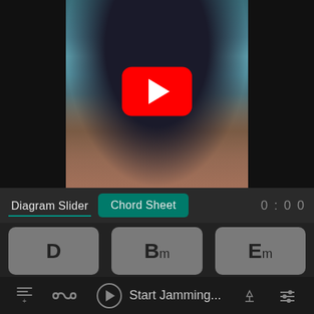[Figure (screenshot): YouTube video thumbnail showing a young woman with curly dark hair wearing a black turtleneck, sitting at a diner table with a plaid skirt. A red YouTube play button is overlaid in the center.]
Diagram Slider
Chord Sheet
0 : 0 0
D
Bm
Em
Start Jamming...